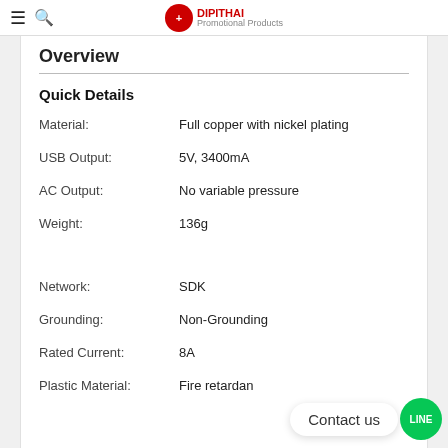Overview
Quick Details
| Property | Value |
| --- | --- |
| Material: | Full copper with nickel plating |
| USB Output: | 5V, 3400mA |
| AC Output: | No variable pressure |
| Weight: | 136g |
| Network: | SDK |
| Grounding: | Non-Grounding |
| Rated Current: | 8A |
| Plastic Material: | Fire retardan |
Contact us